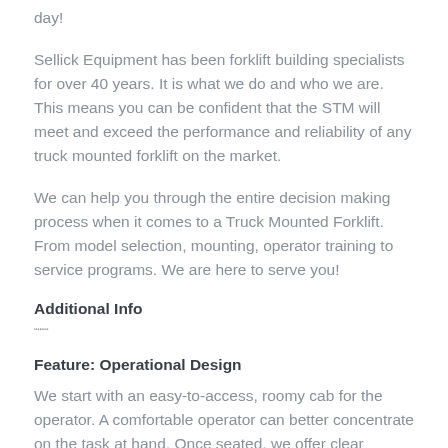day!
Sellick Equipment has been forklift building specialists for over 40 years. It is what we do and who we are. This means you can be confident that the STM will meet and exceed the performance and reliability of any truck mounted forklift on the market.
We can help you through the entire decision making process when it comes to a Truck Mounted Forklift. From model selection, mounting, operator training to service programs. We are here to serve you!
Additional Info
""""
Feature: Operational Design
We start with an easy-to-access, roomy cab for the operator. A comfortable operator can better concentrate on the task at hand. Once seated, we offer clear visibility and fingertip controls. Clearly spaced hydraulic levers are located right above quick click electrical switches. An